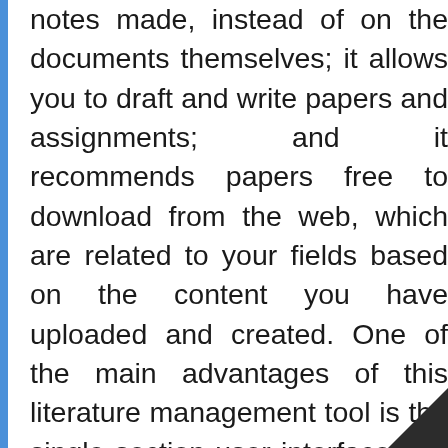notes made, instead of on the documents themselves; it allows you to draft and write papers and assignments; and it recommends papers free to download from the web, which are related to your fields based on the content you have uploaded and created. One of the main advantages of this literature management tool is the single section user interface that allows to view all annotations (comments, bookmarks, highlighted text) of different documents at the same